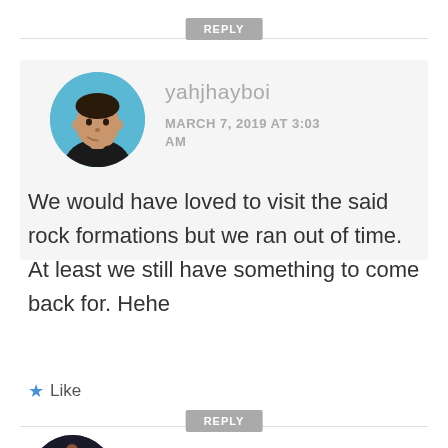REPLY
[Figure (illustration): Circular avatar of yahjhayboi: illustrated man in black jacket, blue background, hand on chin pose]
yahjhayboi
MARCH 7, 2019 AT 3:03 AM
We would have loved to visit the said rock formations but we ran out of time. At least we still have something to come back for. Hehe
Like
REPLY
[Figure (photo): Partial circular avatar of Lourdes Baladad at bottom of page]
Lourdes Baladad